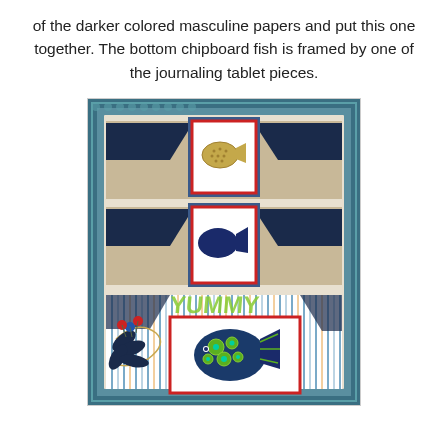of the darker colored masculine papers and put this one together.  The bottom chipboard fish is framed by one of the journaling tablet pieces.
[Figure (photo): A handmade craft project featuring a tall rectangular card with a decorative patterned border. The card contains three fish-shaped elements arranged vertically: the top fish is a gold/beige textured fish embellishment on a white panel framed in red, the middle fish is a solid navy blue fish on a white panel framed in red, and the bottom section features a colorful patterned fish with green and blue circles on a striped background with decorative leaves, berries, and ribbon embellishments.]